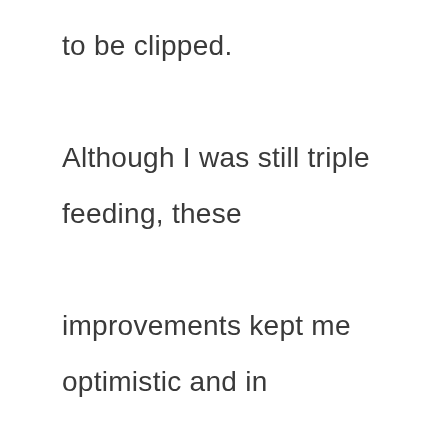to be clipped. Although I was still triple feeding, these improvements kept me optimistic and in January, we began to see progress though not consistent. In late February, five months in, my parents came to visit for a week. While they were staying with us, Valentina and I fell into a routine of breastfeeding once a day and pumping the rest. I had fully